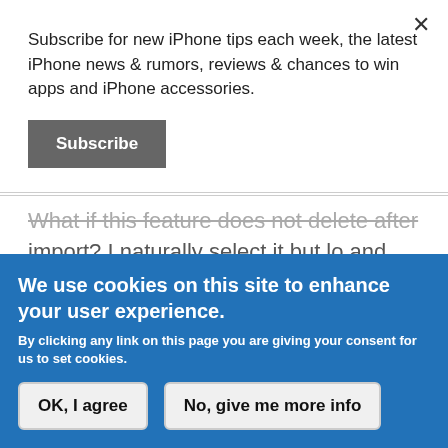Subscribe for new iPhone tips each week, the latest iPhone news & rumors, reviews & chances to win apps and iPhone accessories.
Subscribe
What if this feature does not delete after import? I naturally select it but lo and behold no pictures are removed after import - any ideas?
We use cookies on this site to enhance your user experience.
By clicking any link on this page you are giving your consent for us to set cookies.
OK, I agree
No, give me more info